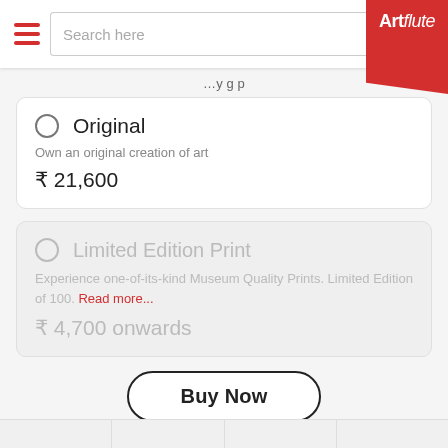Artflute — Search here
Original
Own an original creation of art
₹ 21,600
Limited Edition Print
Experience one-of-its-kind Museum Quality Prints. Limited Edition of 100. Read more...
₹ 4,700 onwards
Buy Now